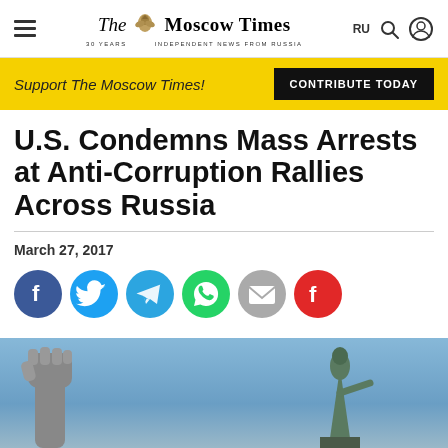The Moscow Times — Independent News From Russia
Support The Moscow Times!
CONTRIBUTE TODAY
U.S. Condemns Mass Arrests at Anti-Corruption Rallies Across Russia
March 27, 2017
[Figure (other): Social media share icons: Facebook, Twitter, Telegram, WhatsApp, Email, Flipboard]
[Figure (photo): Protest scene with a raised fist in foreground and a statue against a blue sky background]